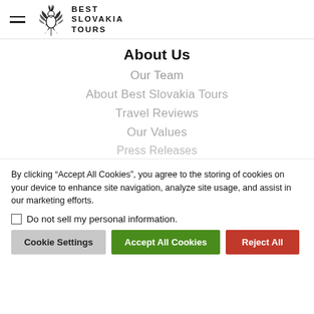[Figure (logo): Best Slovakia Tours logo with ornamental bird/phoenix illustration and bold text BEST SLOVAKIA TOURS]
About Us
Our Team
About Best Slovakia Tours
Travel Reviews
Our Values
Press Releases
By clicking “Accept All Cookies”, you agree to the storing of cookies on your device to enhance site navigation, analyze site usage, and assist in our marketing efforts.
Do not sell my personal information.
Cookie Settings | Accept All Cookies | Reject All